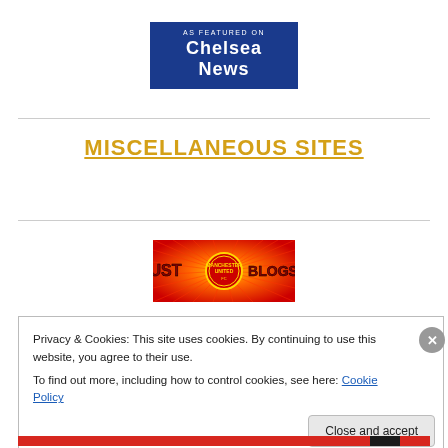[Figure (logo): Chelsea News 'As Featured On' badge — dark blue rectangle with white text 'AS FEATURED ON' above and 'Chelsea News' in bold white below]
MISCELLANEOUS SITES
[Figure (logo): Just Manchester United Blogs logo — red/orange sunburst background with Manchester United crest in center and text 'JUST BLOGS' flanking it]
Privacy & Cookies: This site uses cookies. By continuing to use this website, you agree to their use.
To find out more, including how to control cookies, see here: Cookie Policy
Close and accept